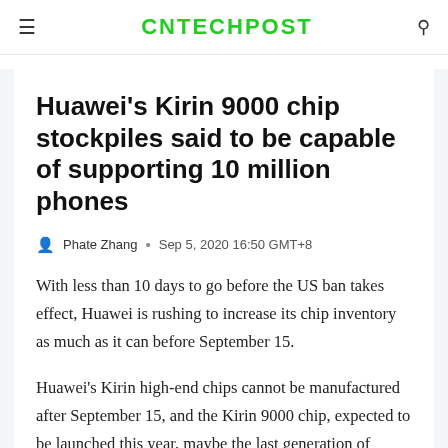CNTECHPOST
Huawei's Kirin 9000 chip stockpiles said to be capable of supporting 10 million phones
Phate Zhang · Sep 5, 2020 16:50 GMT+8
With less than 10 days to go before the US ban takes effect, Huawei is rushing to increase its chip inventory as much as it can before September 15.
Huawei's Kirin high-end chips cannot be manufactured after September 15, and the Kirin 9000 chip, expected to be launched this year, maybe the last generation of